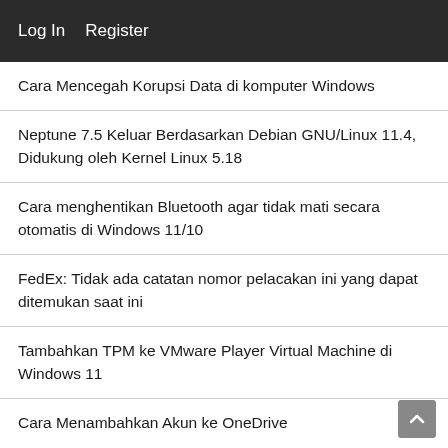Log In   Register
Cara Mencegah Korupsi Data di komputer Windows
Neptune 7.5 Keluar Berdasarkan Debian GNU/Linux 11.4, Didukung oleh Kernel Linux 5.18
Cara menghentikan Bluetooth agar tidak mati secara otomatis di Windows 11/10
FedEx: Tidak ada catatan nomor pelacakan ini yang dapat ditemukan saat ini
Tambahkan TPM ke VMware Player Virtual Machine di Windows 11
Cara Menambahkan Akun ke OneDrive
SDL 2.24 Dirilis Dengan API Baru, Renderer D3D12 Bekerja Pada Windows, Petunjuk Linux Baru
Perangkat Lunak Panorama Gratis Terbaik untuk Windows 11/10